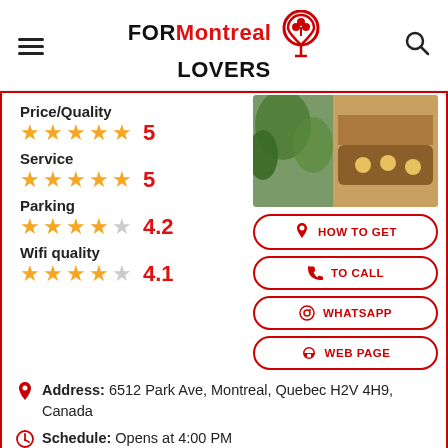FOR Montreal LOVERS
Price/Quality 5
Service 5
Parking 4.2
Wifi quality 4.1
[Figure (photo): Restaurant interior with plants, wooden table, and yellow candles]
HOW TO GET
TO CALL
WHATSAPP
WEB PAGE
Address: 6512 Park Ave, Montreal, Quebec H2V 4H9, Canada
Schedule: Opens at 4:00 PM